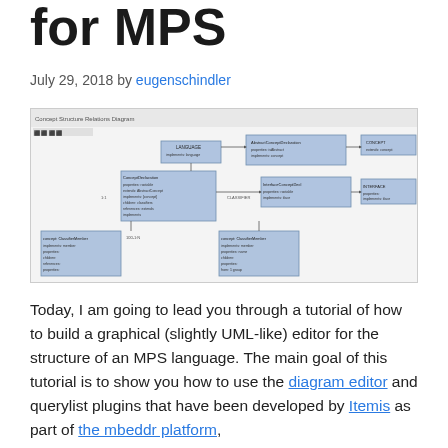for MPS
July 29, 2018 by eugenschindler
[Figure (screenshot): Screenshot of a Concept Structure Relations Diagram in MPS, showing a UML-like graphical editor with multiple concept boxes connected by arrows, rendered in a light blue/grey color scheme on a white background.]
Today, I am going to lead you through a tutorial of how to build a graphical (slightly UML-like) editor for the structure of an MPS language. The main goal of this tutorial is to show you how to use the diagram editor and querylist plugins that have been developed by Itemis as part of the mbeddr platform,